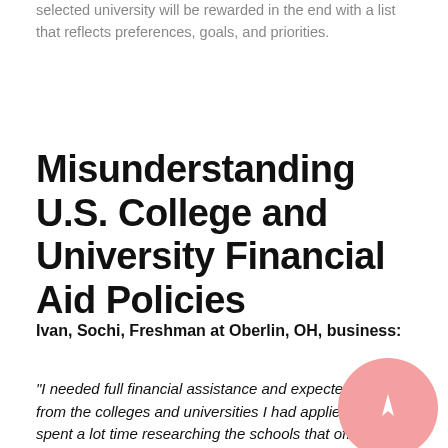selected university will be rewarded in the end with a list that reflects preferences, goals, and priorities.
Misunderstanding U.S. College and University Financial Aid Policies
Ivan, Sochi, Freshman at Oberlin, OH, business:
“I needed full financial assistance and expected to get it from the colleges and universities I had applied to. I spent a lot time researching the schools that offered